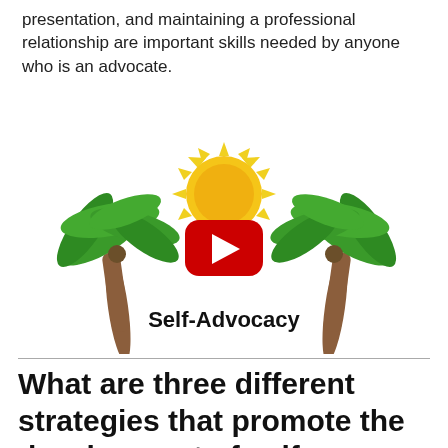presentation, and maintaining a professional relationship are important skills needed by anyone who is an advocate.
[Figure (illustration): Two illustrated palm trees on either side, a drawing of a sun in the center, and a red YouTube play button overlay. Below the image the text 'Self-Advocacy' is written in a casual hand-lettered font.]
What are three different strategies that promote the development of self determination?